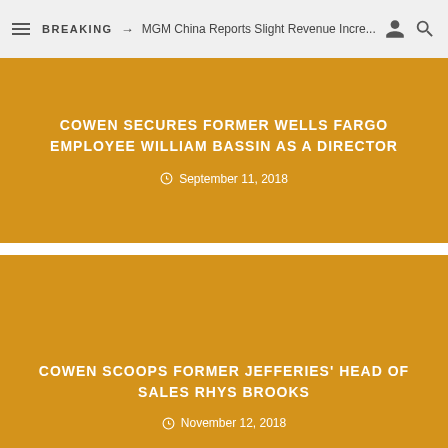BREAKING → MGM China Reports Slight Revenue Incre...
COWEN SECURES FORMER WELLS FARGO EMPLOYEE WILLIAM BASSIN AS A DIRECTOR
September 11, 2018
COWEN SCOOPS FORMER JEFFERIES' HEAD OF SALES RHYS BROOKS
November 12, 2018